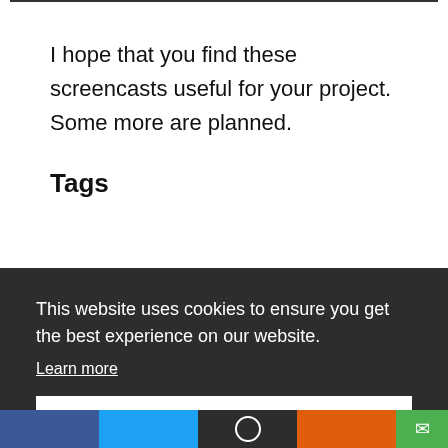I hope that you find these screencasts useful for your project. Some more are planned.
Tags
This website uses cookies to ensure you get the best experience on our website.
Learn more
Got it